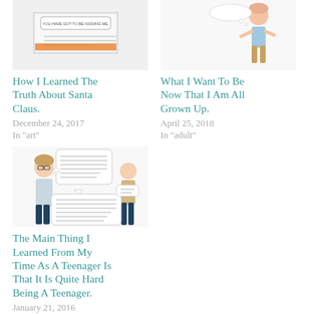[Figure (illustration): Thumbnail illustration for Santa Claus post - shows book cover with text 'YOU HAVE GOT TO BE KIDDING ME']
How I Learned The Truth About Santa Claus.
December 24, 2017
In "art"
[Figure (illustration): Thumbnail illustration for grown up post - cartoon figure of girl with thought bubble]
What I Want To Be Now That I Am All Grown Up.
April 25, 2018
In "adult"
[Figure (illustration): Cartoon drawing of two characters with speech bubbles about being a teenager]
The Main Thing I Learned From My Time As A Teenager Is That It Is Quite Hard Being A Teenager.
January 21, 2016
In "Humour"
POSTED IN UNCATEGORIZED
BOOKS
COMEDY
FICTION
FUNNY